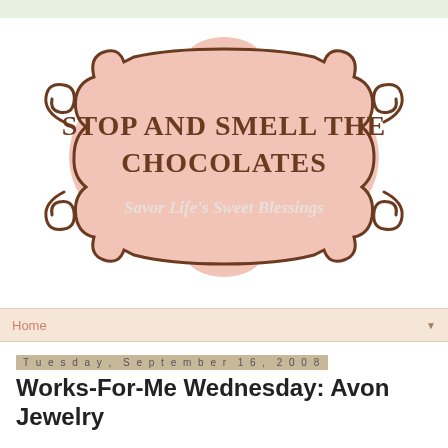[Figure (logo): Stop And Smell The Chocolates blog logo - ornate brown scrollwork frame with pink background, text reads STOP AND SMELL THE CHOCOLATES and subtitle Savor Life's Sweet Blessings in italic script]
Home
Tuesday, September 16, 2008
Works-For-Me Wednesday: Avon Jewelry
I sold Avon for about 4 years, but I no longer sell it, so you can rest assured that I'm not trying to sell you something! :)